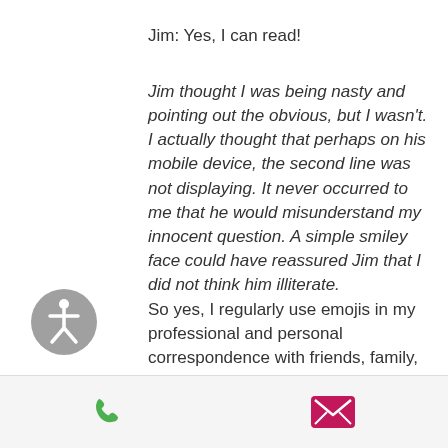Jim: Yes, I can read!
Jim thought I was being nasty and pointing out the obvious, but I wasn't. I actually thought that perhaps on his mobile device, the second line was not displaying. It never occurred to me that he would misunderstand my innocent question. A simple smiley face could have reassured Jim that I did not think him illiterate.
[Figure (illustration): Accessibility icon: grey circle with a white human figure (wheelchair accessibility symbol)]
So yes, I regularly use emojis in my professional and personal correspondence with friends, family, colleagues and clients. I've stopped
[Figure (illustration): Bottom navigation bar with a green phone icon on the left and a pink/magenta envelope icon on the right]